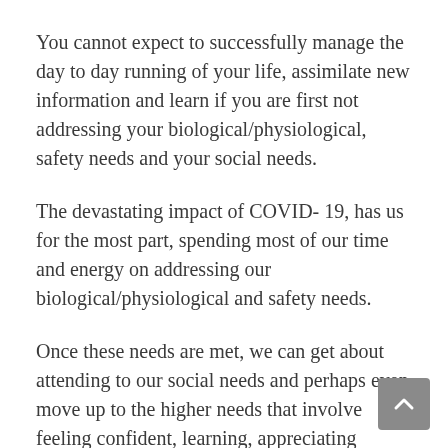You cannot expect to successfully manage the day to day running of your life, assimilate new information and learn if you are first not addressing your biological/physiological, safety needs and your social needs.
The devastating impact of COVID- 19, has us for the most part, spending most of our time and energy on addressing our biological/physiological and safety needs.
Once these needs are met, we can get about attending to our social needs and perhaps even move up to the higher needs that involve feeling confident, learning, appreciating beauty/feeling gratitude.